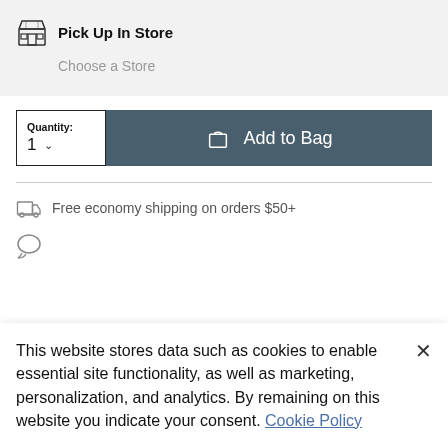Pick Up In Store
Choose a Store
Quantity: 1
Add to Bag
Free economy shipping on orders $50+
This website stores data such as cookies to enable essential site functionality, as well as marketing, personalization, and analytics. By remaining on this website you indicate your consent. Cookie Policy